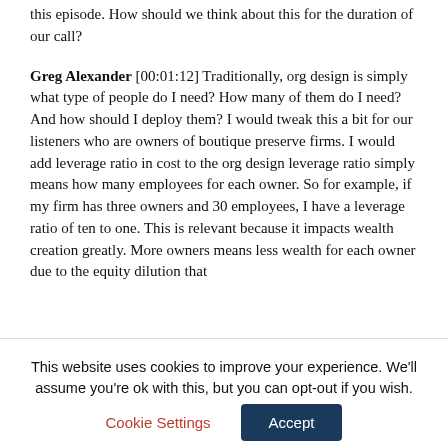this episode. How should we think about this for the duration of our call?
Greg Alexander [00:01:12] Traditionally, org design is simply what type of people do I need? How many of them do I need? And how should I deploy them? I would tweak this a bit for our listeners who are owners of boutique preserve firms. I would add leverage ratio in cost to the org design leverage ratio simply means how many employees for each owner. So for example, if my firm has three owners and 30 employees, I have a leverage ratio of ten to one. This is relevant because it impacts wealth creation greatly. More owners means less wealth for each owner due to the equity dilution that
This website uses cookies to improve your experience. We'll assume you're ok with this, but you can opt-out if you wish.
Cookie Settings
Accept